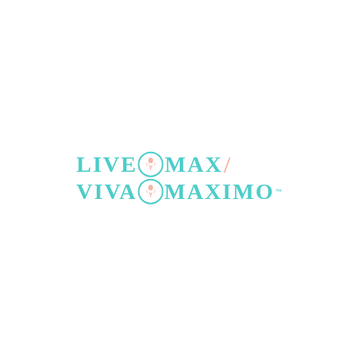[Figure (logo): LiveMax / Viva al Maximo brand logo with teal serif lettering and salmon/peach slash accent. Two circular emblems with decorative figure icons are embedded between letters. Logo reads 'LIVE MAX/' on first line and 'VIVA AL MAXIMO' with trademark symbol on second line.]